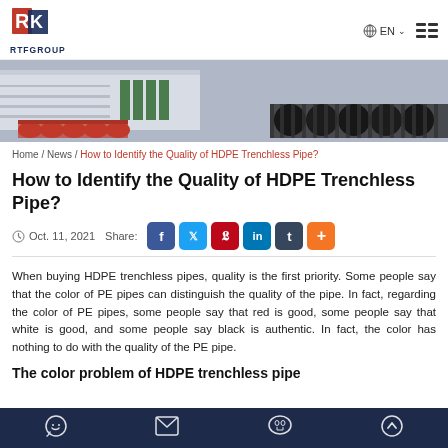RTFGROUP | EN
[Figure (photo): Industrial pipes stacked at a facility — orange/red pipes on left, black corrugated pipes on right, warehouse in background]
Home / News / How to Identify the Quality of HDPE Trenchless Pipe?
How to Identify the Quality of HDPE Trenchless Pipe?
Oct. 11, 2021   Share:
When buying HDPE trenchless pipes, quality is the first priority. Some people say that the color of PE pipes can distinguish the quality of the pipe. In fact, regarding the color of PE pipes, some people say that red is good, some people say that white is good, and some people say black is authentic. In fact, the color has nothing to do with the quality of the PE pipe.
The color problem of HDPE trenchless pipe